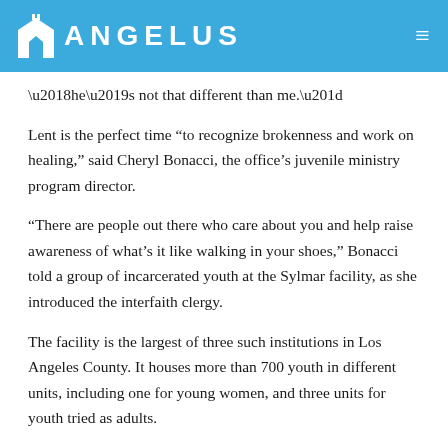ANGELUS
'he's not that different than me.'
Lent is the perfect time “to recognize brokenness and work on healing,” said Cheryl Bonacci, the office’s juvenile ministry program director.
“There are people out there who care about you and help raise awareness of what’s it like walking in your shoes,” Bonacci told a group of incarcerated youth at the Sylmar facility, as she introduced the interfaith clergy.
The facility is the largest of three such institutions in Los Angeles County. It houses more than 700 youth in different units, including one for young women, and three units for youth tried as adults.